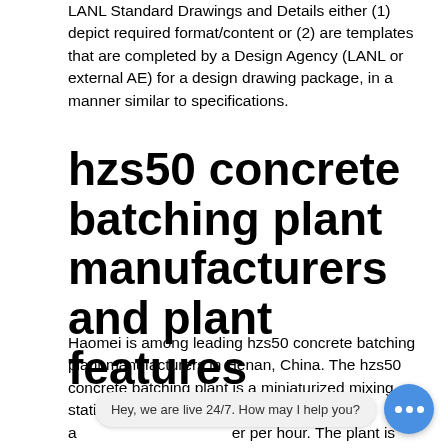LANL Standard Drawings and Details either (1) depict required format/content or (2) are templates that are completed by a Design Agency (LANL or external AE) for a design drawing package, in a manner similar to specifications.
hzs50 concrete batching plant manufacturers and plant features
Haomei is among leading hzs50 concrete batching plant manufacturers in Henan, China. The hzs50 concrete batching plant is a miniaturized mixing station produced by Haomei, with a … per hour. The plant is equipped with a JS1000 forced